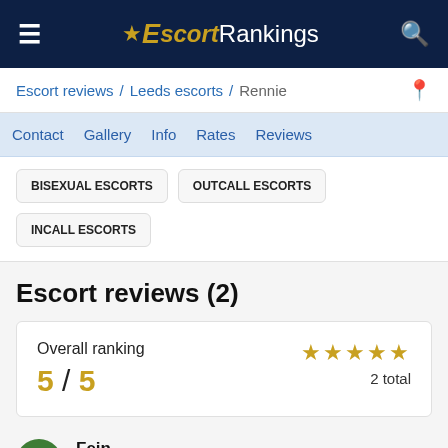Escort Rankings
Escort reviews / Leeds escorts / Rennie
Contact   Gallery   Info   Rates   Reviews
BISEXUAL ESCORTS
OUTCALL ESCORTS
INCALL ESCORTS
Escort reviews (2)
| Overall ranking | Stars | Total |
| --- | --- | --- |
| 5 / 5 | ★★★★★ | 2 total |
Fein
★★★★★ Jun 2022